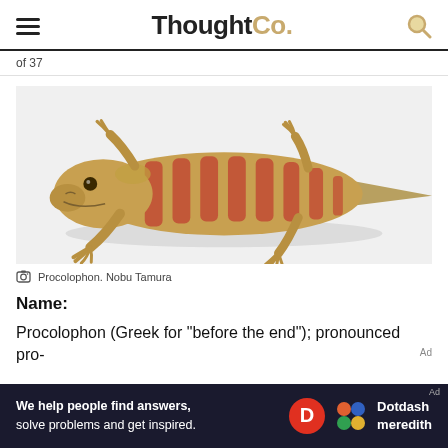ThoughtCo.
of 37
[Figure (illustration): Illustration of Procolophon, a lizard-like reptile with reddish-orange and tan striped coloration, shown from above in a sprawling posture with four limbs splayed outward and a tapering tail.]
Procolophon. Nobu Tamura
Name:
Procolophon (Greek for "before the end"); pronounced pro-
[Figure (infographic): Ad banner: 'We help people find answers, solve problems and get inspired.' with Dotdash Meredith logo.]